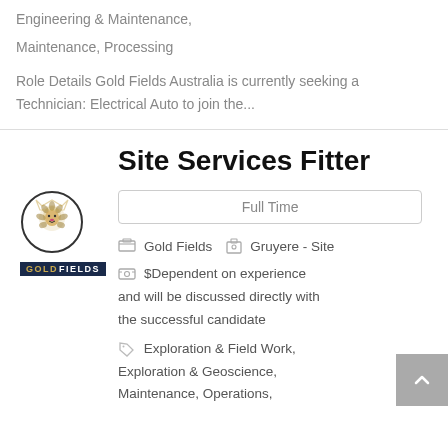Engineering & Maintenance,
Maintenance, Processing
Role Details Gold Fields Australia is currently seeking a Technician: Electrical Auto to join the...
Site Services Fitter
Full Time
Gold Fields   Gruyere - Site
$Dependent on experience and will be discussed directly with the successful candidate
Exploration & Field Work, Exploration & Geoscience, Maintenance, Operations,